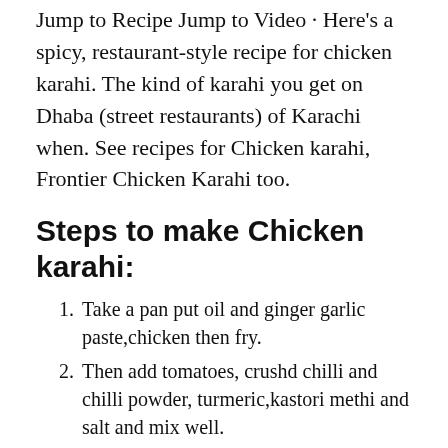Jump to Recipe Jump to Video · Here's a spicy, restaurant-style recipe for chicken karahi. The kind of karahi you get on Dhaba (street restaurants) of Karachi when. See recipes for Chicken karahi, Frontier Chicken Karahi too.
Steps to make Chicken karahi:
Take a pan put oil and ginger garlic paste,chicken then fry.
Then add tomatoes, crushd chilli and chilli powder, turmeric,kastori methi and salt and mix well.
When chicken is cooked and tomatoes are melted so flame is off...
And then garnish with coriander leaves and